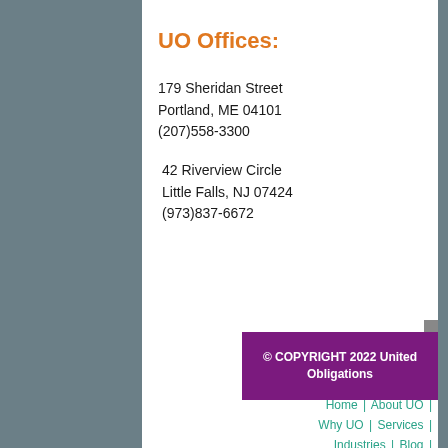UO Offices:
179 Sheridan Street
Portland, ME 04101
(207)558-3300
42 Riverview Circle
Little Falls, NJ 07424
(973)837-6672
© COPYRIGHT 2022 United Obligations
Home | About UO | Why UO | Services | Industries | Blog | Contact